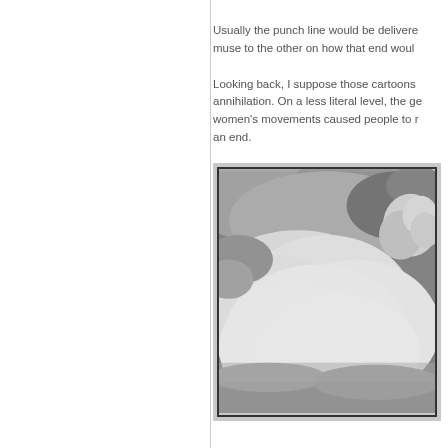Usually the punch line would be delivered by one muse to the other on how that end would come about.
Looking back, I suppose those cartoons were about annihilation. On a less literal level, the gender and women's movements caused people to reconsider an end.
[Figure (photo): Black and white photograph showing dramatic clouds and smoke, possibly an atomic bomb mushroom cloud or volcanic eruption, with billowing white and dark grey clouds filling the frame.]